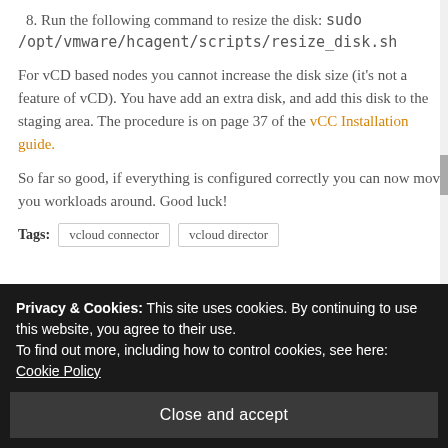8. Run the following command to resize the disk: sudo /opt/vmware/hcagent/scripts/resize_disk.sh
For vCD based nodes you cannot increase the disk size (it's not a feature of vCD). You have add an extra disk, and add this disk to the staging area. The procedure is on page 37 of the vCC Installation guide.
So far so good, if everything is configured correctly you can now move you workloads around. Good luck!
Tags: vcloud connector   vcloud director
Privacy & Cookies: This site uses cookies. By continuing to use this website, you agree to their use. To find out more, including how to control cookies, see here: Cookie Policy
Close and accept